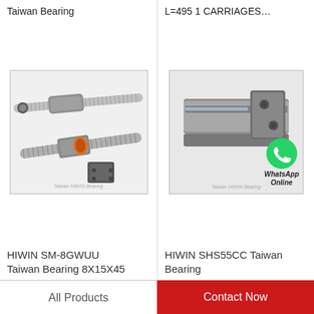Taiwan Bearing
L=495 1 CARRIAGES…
[Figure (photo): HIWIN ball screw and bearing assemblies photo with watermark 'Taiwan HIWIN Bearing']
[Figure (photo): HIWIN linear guide rail SHS55CC photo with WhatsApp Online badge and watermark 'Taiwan HIWIN Bearing']
HIWIN SM-8GWUU Taiwan Bearing 8X15X45
HIWIN SHS55CC Taiwan Bearing
[Figure (photo): Partial product image (bottom row left), partially visible]
[Figure (photo): Partial product image (bottom row right), partially visible]
All Products
Contact Now